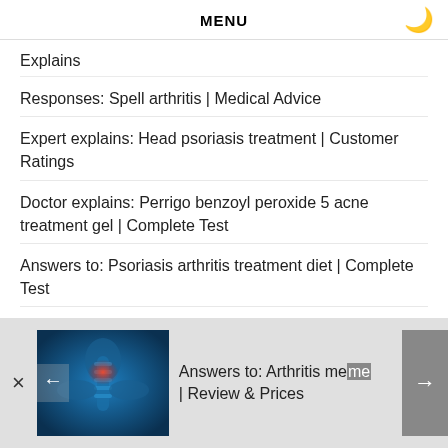MENU
Explains
Responses: Spell arthritis | Medical Advice
Expert explains: Head psoriasis treatment | Customer Ratings
Doctor explains: Perrigo benzoyl peroxide 5 acne treatment gel | Complete Test
Answers to: Psoriasis arthritis treatment diet | Complete Test
Responses: Psoriasis treatment otc | Forums Ratings
[Figure (photo): Medical illustration of human spine/neck with red inflammation highlighted, blue anatomical rendering]
Answers to: Arthritis meme | Review & Prices